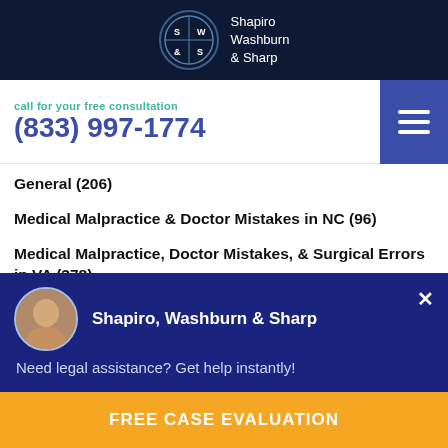Shapiro Washburn & Sharp
call for your free consultation
(833) 997-1774
General (206)
Medical Malpractice & Doctor Mistakes in NC (96)
Medical Malpractice, Doctor Mistakes, & Surgical Errors in VA (378)
thelioma · Asbestos Cancer (11)
Shapiro, Washburn & Sharp
Need legal assistance? Get help instantly!
FREE CASE EVALUATION